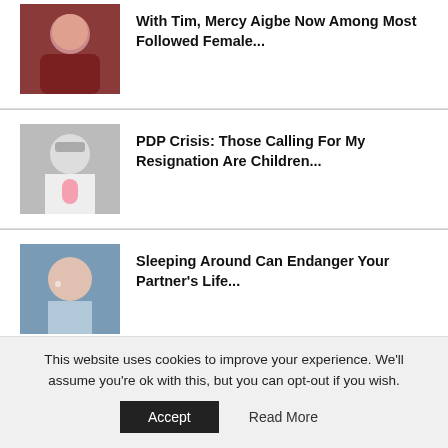[Figure (photo): Woman in red dress posing]
With Tim, Mercy Aigbe Now Among Most Followed Female...
[Figure (photo): Elderly man in white holding a pink microphone wearing a crown]
PDP Crisis: Those Calling For My Resignation Are Children...
[Figure (photo): Smiling woman with earrings against grey background]
Sleeping Around Can Endanger Your Partner's Life...
This website uses cookies to improve your experience. We'll assume you're ok with this, but you can opt-out if you wish.
Accept
Read More